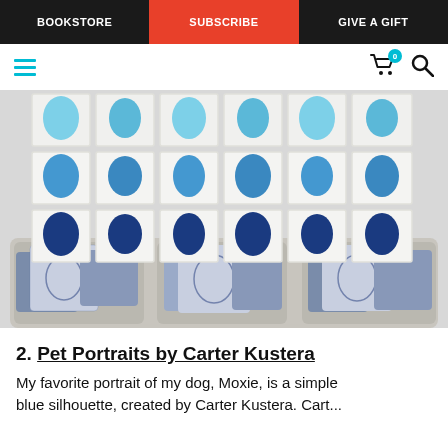BOOKSTORE | SUBSCRIBE | GIVE A GIFT
[Figure (photo): A light gray couch with blue and white patterned throw pillows against a white wall. On the wall above the couch hangs a grid of 18 framed artworks showing blue silhouette portraits of pets (dogs and cats) in varying shades of blue on white/cream backgrounds, arranged in a 3-row by 6-column grid.]
2. Pet Portraits by Carter Kustera
My favorite portrait of my dog, Moxie, is a simple blue silhouette, created by Carter Kustera. Cart...